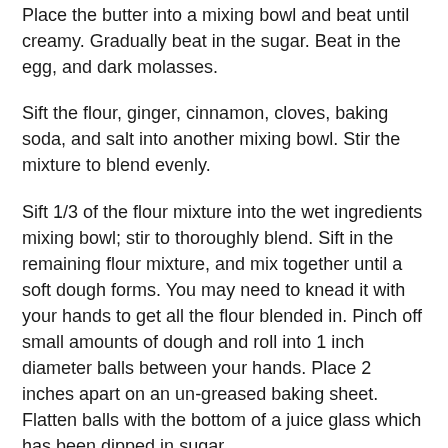Place the butter into a mixing bowl and beat until creamy. Gradually beat in the sugar. Beat in the egg, and dark molasses.
Sift the flour, ginger, cinnamon, cloves, baking soda, and salt into another mixing bowl. Stir the mixture to blend evenly.
Sift 1/3 of the flour mixture into the wet ingredients mixing bowl; stir to thoroughly blend. Sift in the remaining flour mixture, and mix together until a soft dough forms. You may need to knead it with your hands to get all the flour blended in. Pinch off small amounts of dough and roll into 1 inch diameter balls between your hands. Place 2 inches apart on an un-greased baking sheet.  Flatten balls with the bottom of a juice glass which has been dipped in sugar.